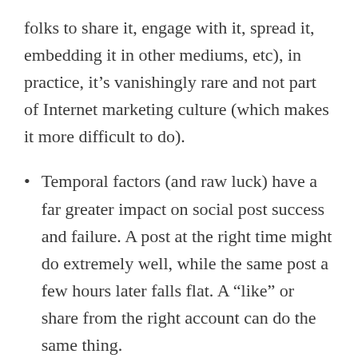folks to share it, engage with it, spread it, embedding it in other mediums, etc), in practice, it's vanishingly rare and not part of Internet marketing culture (which makes it more difficult to do).
Temporal factors (and raw luck) have a far greater impact on social post success and failure. A post at the right time might do extremely well, while the same post a few hours later falls flat. A “like” or share from the right account can do the same thing.
All things considered, social posts are